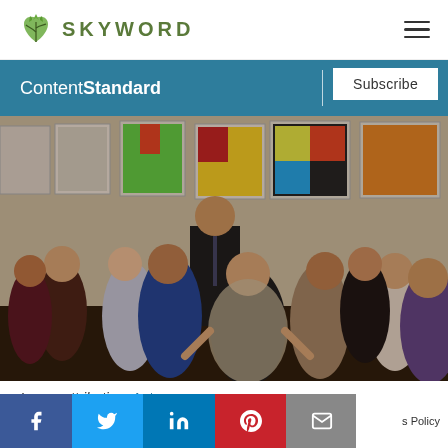SKYWORD
[Figure (logo): Skyword logo with green leaf/plant icon and text SKYWORD in uppercase green letters, hamburger menu icon on right]
[Figure (screenshot): ContentStandard navigation bar in teal with Subscribe button, followed by a photo of a group of people in an art gallery having a discussion]
Image attribution: Antenna
[Figure (infographic): Social share bar at bottom with Facebook, Twitter, LinkedIn, Pinterest, Email icons and Privacy Policy link]